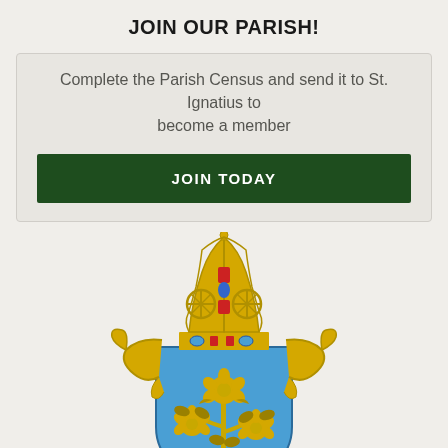JOIN OUR PARISH!
Complete the Parish Census and send it to St. Ignatius to become a member
JOIN TODAY
[Figure (illustration): Diocese coat of arms / heraldic crest featuring a golden bishop's mitre at the top with red and blue jewel decorations, flanked by golden crozier staves, above a blue heraldic shield bearing three golden roses on a stem with leaves, and a white crescent moon at the base of the shield.]